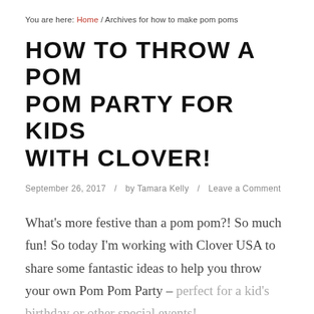You are here: Home / Archives for how to make pom poms
HOW TO THROW A POM POM PARTY FOR KIDS WITH CLOVER!
September 26, 2017  /  by Tamara Kelly  /  Leave a Comment
What's more festive than a pom pom?! So much fun! So today I'm working with Clover USA to share some fantastic ideas to help you throw your own Pom Pom Party – perfect for a kid's birthday or other special events!